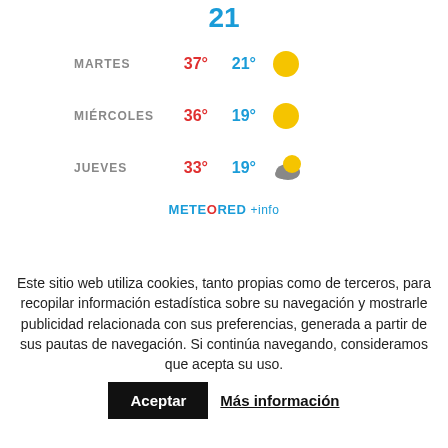[Figure (screenshot): Weather forecast widget showing day number 21 at top, followed by three forecast rows: MARTES 37° 21° sunny, MIÉRCOLES 36° 19° sunny, JUEVES 33° 19° partly cloudy, with METEORED branding]
Este sitio web utiliza cookies, tanto propias como de terceros, para recopilar información estadística sobre su navegación y mostrarle publicidad relacionada con sus preferencias, generada a partir de sus pautas de navegación. Si continúa navegando, consideramos que acepta su uso.
Aceptar  Más información